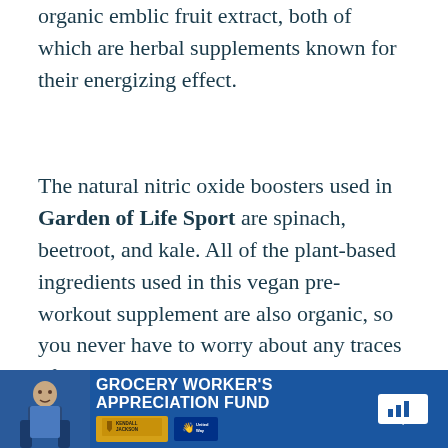organic emblic fruit extract, both of which are herbal supplements known for their energizing effect.
The natural nitric oxide boosters used in Garden of Life Sport are spinach, beetroot, and kale. All of the plant-based ingredients used in this vegan pre-workout supplement are also organic, so you never have to worry about any traces of pesticides or other cancer-causing additives!
I…/ this …going
[Figure (other): Advertisement banner for Grocery Worker's Appreciation Fund featuring Kendall-Jackson and United Way logos, with a partial image of a grocery worker on the left and sound/mute icons on the right.]